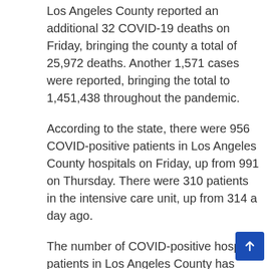Los Angeles County reported an additional 32 COVID-19 deaths on Friday, bringing the county a total of 25,972 deaths. Another 1,571 cases were reported, bringing the total to 1,451,438 throughout the pandemic.
According to the state, there were 956 COVID-positive patients in Los Angeles County hospitals on Friday, up from 991 on Thursday. There were 310 patients in the intensive care unit, up from 314 a day ago.
The number of COVID-positive hospital patients in Los Angeles County has declined 23-fold in the past 25 days, down from a summer high of nearly 1,800.
The moving average daily rate of people in the county who tested positive for the virus was 1.5% on Friday, roughly the same as on Thursday. The moving